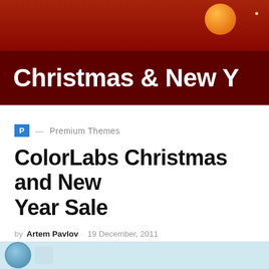[Figure (illustration): Christmas & New Year banner with dark red background, white bold text reading 'Christmas & New Y' (cropped), and an orange ornament ball in the upper right]
P  —  Premium Themes
ColorLabs Christmas and New Year Sale
by Artem Pavlov · 19 December, 2011
ColorLabs celebrate Christmas with a great and amazing deal! Starting on December 19, 2011 until January 8, 2012···
[Figure (photo): Partial image visible at bottom of page, appears to be a logo or graphic with blue/white colors]